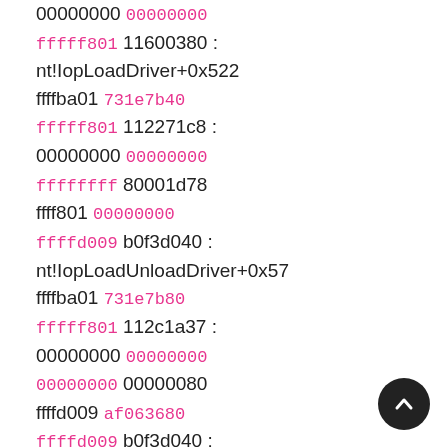00000000 00000000
fffff801 11600380 : nt!IopLoadDriver+0x522
ffffba01 731e7b40
fffff801 112271c8 : 00000000 00000000
ffffffff 80001d78
ffff801 00000000
ffffd009 b0f3d040 : nt!IopLoadUnloadDriver+0x57
ffffba01 731e7b80
fffff801 112c1a37 : 00000000 00000000
00000000 00000080
ffffd009 af063680
ffffd009 b0f3d040 : nt!ExpWorkerThread+0xd8
ffffba01 731e7c10
fffff801 11379796 :